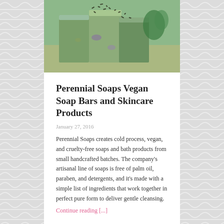[Figure (photo): Photo of handcrafted vegan soap bars stacked on a wooden surface, green and lavender colored with dried herbs on top]
Perennial Soaps Vegan Soap Bars and Skincare Products
January 27, 2016
Perennial Soaps creates cold process, vegan, and cruelty-free soaps and bath products from small handcrafted batches. The company's artisanal line of soaps is free of palm oil, paraben, and detergents, and it's made with a simple list of ingredients that work together in perfect pure form to deliver gentle cleansing.
Continue reading [...]